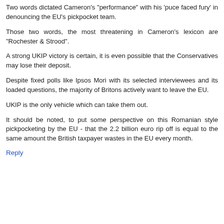Two words dictated Cameron's "performance" with his 'puce faced fury' in denouncing the EU's pickpocket team.
Those two words, the most threatening in Cameron's lexicon are "Rochester & Strood".
A strong UKIP victory is certain, it is even possible that the Conservatives may lose their deposit.
Despite fixed polls like Ipsos Mori with its selected interviewees and its loaded questions, the majority of Britons actively want to leave the EU.
UKIP is the only vehicle which can take them out.
It should be noted, to put some perspective on this Romanian style pickpocketing by the EU - that the 2.2 billion euro rip off is equal to the same amount the British taxpayer wastes in the EU every month.
Reply